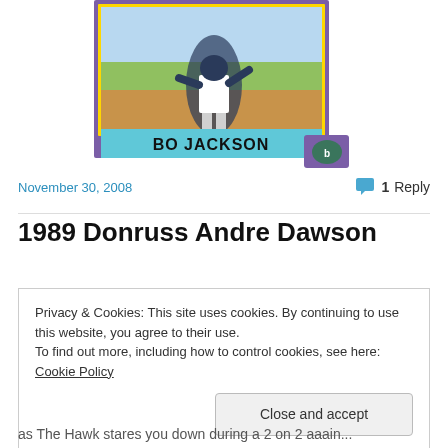[Figure (photo): Baseball card image showing Bo Jackson mid-swing, with purple border and cyan name banner reading 'BO JACKSON']
November 30, 2008
1 Reply
1989 Donruss Andre Dawson
Privacy & Cookies: This site uses cookies. By continuing to use this website, you agree to their use.
To find out more, including how to control cookies, see here: Cookie Policy
Close and accept
as The Hawk stares you down during a 2 on 2 aaain...